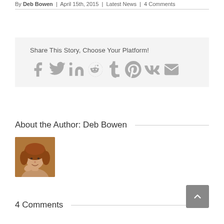By Deb Bowen | April 15th, 2015 | Latest News | 4 Comments
Share This Story, Choose Your Platform!
[Figure (infographic): Social sharing icons: Facebook, Twitter, LinkedIn, Reddit, Tumblr, Pinterest, Vk, Email]
About the Author: Deb Bowen
[Figure (photo): Portrait photo of Deb Bowen, a woman with curly reddish-brown hair, smiling, resting her chin on her hand]
4 Comments